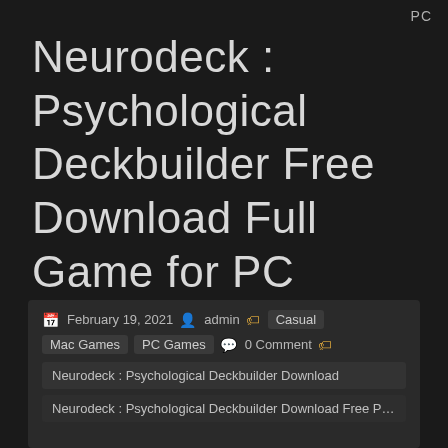PC
Neurodeck : Psychological Deckbuilder Free Download Full Game for PC
February 19, 2021  admin  Casual  Mac Games  PC Games  0 Comment  Neurodeck : Psychological Deckbuilder Download  Neurodeck : Psychological Deckbuilder Download Free PC Game